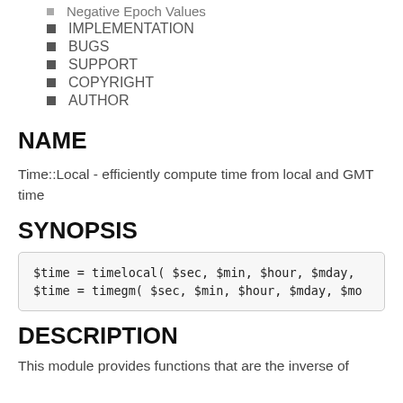Negative Epoch Values
IMPLEMENTATION
BUGS
SUPPORT
COPYRIGHT
AUTHOR
NAME
Time::Local - efficiently compute time from local and GMT time
SYNOPSIS
$time = timelocal( $sec, $min, $hour, $mday,
$time = timegm( $sec, $min, $hour, $mday, $mo
DESCRIPTION
This module provides functions that are the inverse of